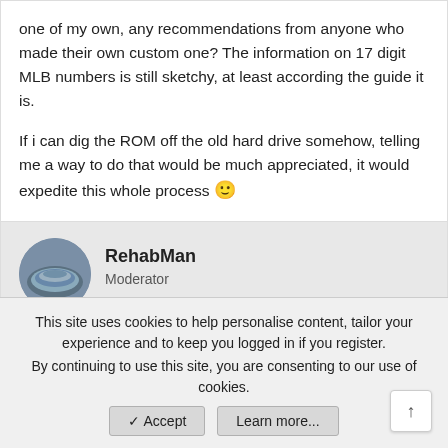one of my own, any recommendations from anyone who made their own custom one? The information on 17 digit MLB numbers is still sketchy, at least according the guide it is.
If i can dig the ROM off the old hard drive somehow, telling me a way to do that would be much appreciated, it would expedite this whole process 🙂
RehabMan
Moderator
Jul 5, 2015
#388
emcbeth2158 said: ↑
This site uses cookies to help personalise content, tailor your experience and to keep you logged in if you register. By continuing to use this site, you are consenting to our use of cookies.
Accept
Learn more...